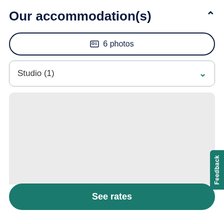Our accommodation(s)
[Figure (screenshot): Button with photo icon showing '6 photos']
Studio (1)
[Figure (photo): Gray placeholder image area for accommodation photos]
See rates
Feedback